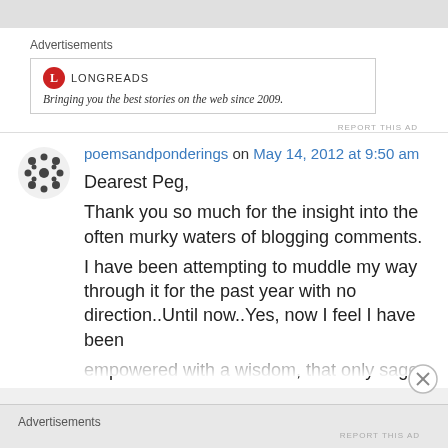[Figure (other): Top grey bar area]
Advertisements
[Figure (logo): Longreads logo with red circle L and brand name, ad text: Bringing you the best stories on the web since 2009.]
REPORT THIS AD
poemsandponderings on May 14, 2012 at 9:50 am
Dearest Peg,
Thank you so much for the insight into the often murky waters of blogging comments.
I have been attempting to muddle my way through it for the past year with no direction..Until now..Yes, now I feel I have been empowered with a wisdom, that only sages
Advertisements
REPORT THIS AD